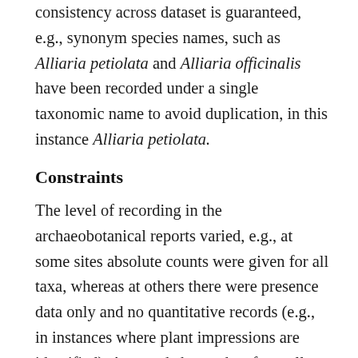consistency across dataset is guaranteed, e.g., synonym species names, such as Alliaria petiolata and Alliaria officinalis have been recorded under a single taxonomic name to avoid duplication, in this instance Alliaria petiolata.
Constraints
The level of recording in the archaeobotanical reports varied, e.g., at some sites absolute counts were given for all taxa, whereas at others there were presence data only and no quantitative records (e.g., in instances where plant impressions are identified). As noted above, data from all reports have been included and this has permitted presence/absence analysis of as full a range of taxa as possible. Our records include taxa preserved under different conditions and the disparity